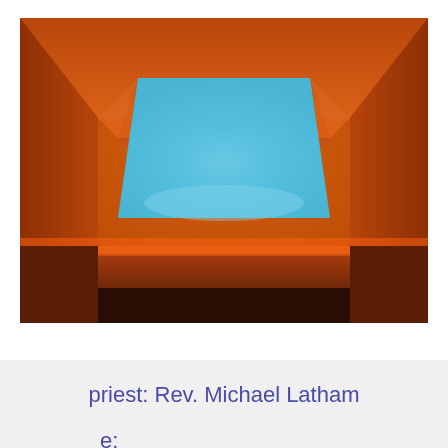[Figure (photo): Interior room with orange/amber glowing walls and ceiling, with a large trapezoidal skylight opening showing blue sky — likely a James Turrell light installation.]
priest: Rev. Michael Latham
e: